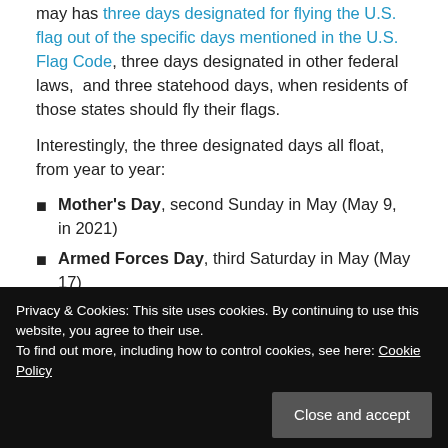may has three days designated for flying the U.S. flag out of the specific days mentioned in the U.S. Flag Code, three days designated in other federal laws,  and three statehood days, when residents of those states should fly their flags.
Interestingly, the three designated days all float, from year to year:
Mother's Day, second Sunday in May (May 9, in 2021)
Armed Forces Day, third Saturday in May (May 17)
Memorial Day, the last Monday in May (May 31)
Privacy & Cookies: This site uses cookies. By continuing to use this website, you agree to their use. To find out more, including how to control cookies, see here: Cookie Policy